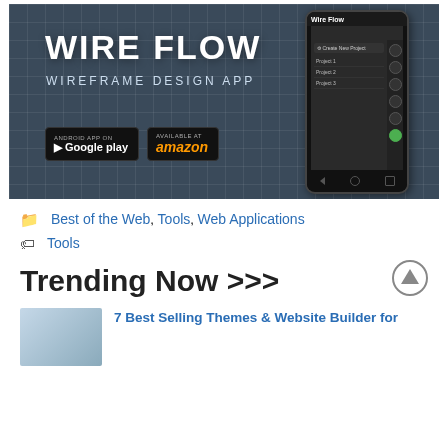[Figure (screenshot): Wire Flow wireframe design app banner with phone mockup, Google Play and Amazon app store badges on dark blue-grey grid background]
Best of the Web, Tools, Web Applications
Tools
Trending Now >>>
7 Best Selling Themes & Website Builder for